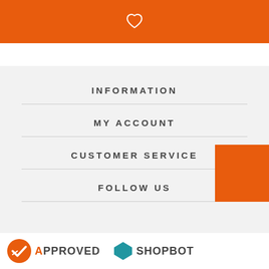INFORMATION
MY ACCOUNT
CUSTOMER SERVICE
FOLLOW US
[Figure (logo): Approved Index logo at bottom left]
[Figure (logo): Shopbot logo at bottom center]